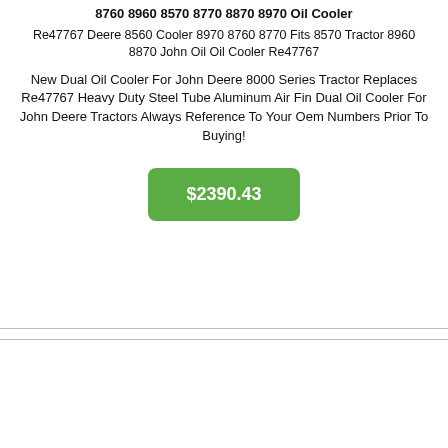8760 8960 8570 8770 8870 8970 Oil Cooler
Re47767 Deere 8560 Cooler 8970 8760 8770 Fits 8570 Tractor 8960 8870 John Oil Oil Cooler Re47767
New Dual Oil Cooler For John Deere 8000 Series Tractor Replaces Re47767 Heavy Duty Steel Tube Aluminum Air Fin Dual Oil Cooler For John Deere Tractors Always Reference To Your Oem Numbers Prior To Buying!
$2390.43